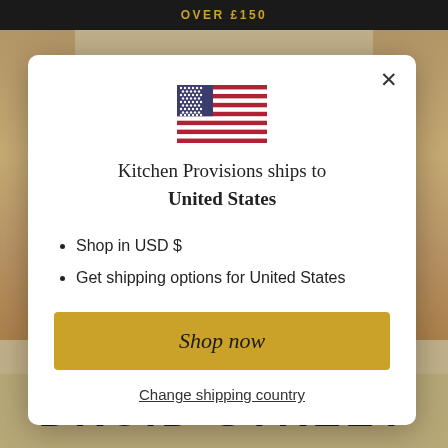OVER £150
[Figure (screenshot): Modal dialog showing US flag, shipping information for United States, Shop now button, and Change shipping country link]
Kitchen Provisions ships to United States
Shop in USD $
Get shipping options for United States
Shop now
Change shipping country
DRUID STREET